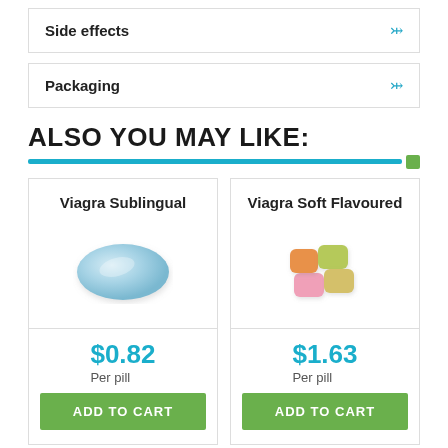Side effects
Packaging
ALSO YOU MAY LIKE:
[Figure (other): Blue horizontal divider bar with small green square on right]
Viagra Sublingual
[Figure (photo): Blue oval pill tablet]
$0.82 Per pill
ADD TO CART
Viagra Soft Flavoured
[Figure (photo): Colorful soft flavoured pill pieces in orange, yellow, green and pink]
$1.63 Per pill
ADD TO CART
Viagra
Viagra Super